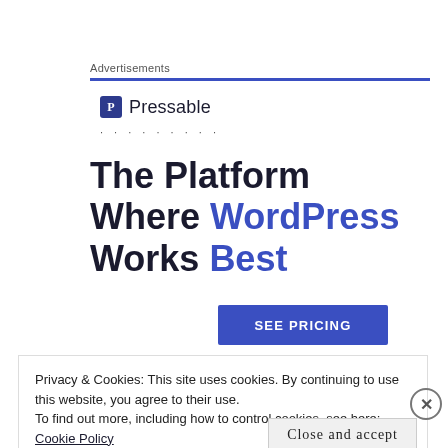Advertisements
[Figure (logo): Pressable logo with blue 'P' icon and 'Pressable' wordmark, followed by dotted separator line]
The Platform Where WordPress Works Best
SEE PRICING
Privacy & Cookies: This site uses cookies. By continuing to use this website, you agree to their use.
To find out more, including how to control cookies, see here: Cookie Policy
Close and accept